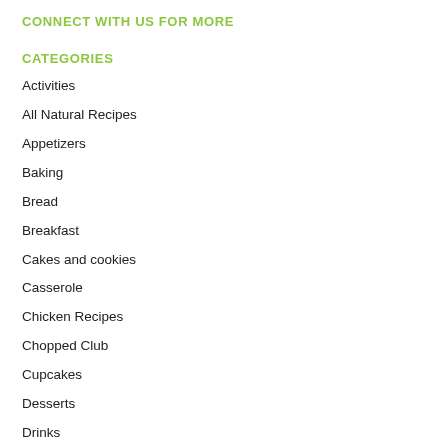CONNECT WITH US FOR MORE
CATEGORIES
Activities
All Natural Recipes
Appetizers
Baking
Bread
Breakfast
Cakes and cookies
Casserole
Chicken Recipes
Chopped Club
Cupcakes
Desserts
Drinks
Healthy Recipes